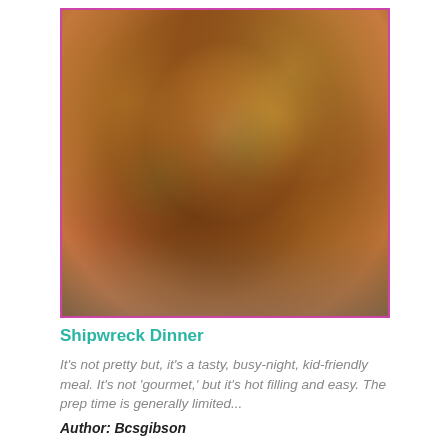[Figure (photo): Close-up photo of Shipwreck Dinner dish — a mixture of rice, peas, corn, and other vegetables with ground meat, served on a plate]
Shipwreck Dinner
It's not pretty but, it's a tasty, busy-night, kid-friendly meal. It's not 'gourmet,' but it's hot filling and easy. The prep time is generally limited...
Author: Bcsgibson